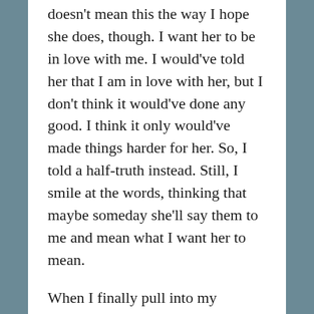doesn't mean this the way I hope she does, though. I want her to be in love with me. I would've told her that I am in love with her, but I don't think it would've done any good. I think it only would've made things harder for her. So, I told a half-truth instead. Still, I smile at the words, thinking that maybe someday she'll say them to me and mean what I want her to mean.
When I finally pull into my driveway, I sit for a while. I sit, and I stare at the words again on my phone. I cry silently over them. Lifting myself out of my seat feels like lifting a body bag full of cinder blocks. Geneseo no longer feels like home. My house looks like it wants to eat me alive. Eventually, I worry that one of my parents will see me and rush out to